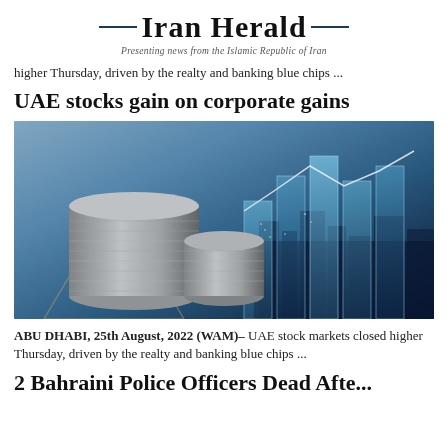Iran Herald — Presenting news from the Islamic Republic of Iran
higher Thursday, driven by the realty and banking blue chips ...
UAE stocks gain on corporate gains
[Figure (photo): Stock market themed photo showing stacked silver coins in foreground with glowing bar chart hologram and cityscape in background, blue-toned financial imagery]
ABU DHABI, 25th August, 2022 (WAM)– UAE stock markets closed higher Thursday, driven by the realty and banking blue chips ...
2 Bahraini Police Officers Dead Afte...